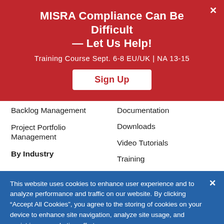MISRA Compliance Can Be Difficult — Let Us Help!
Training Course Sept. 6-8 EU/UK | NA 13-15
Sign Up
Backlog Management
Project Portfolio Management
By Industry
Documentation
Downloads
Video Tutorials
Training
This website uses cookies to enhance user experience and to analyze performance and traffic on our website. By clicking “Accept All Cookies”, you agree to the storing of cookies on your device to enhance site navigation, analyze site usage, and assist in our marketing efforts.
Cookies Settings
Accept All Cookies